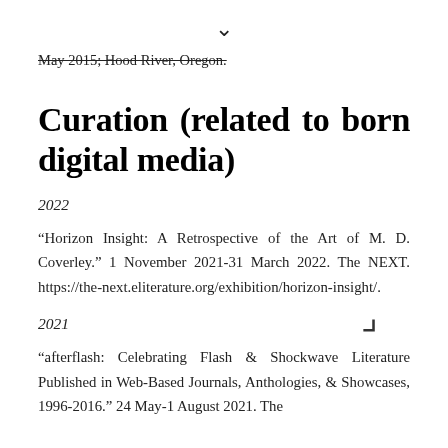May 2015; Hood River, Oregon.
Curation (related to born digital media)
2022
“Horizon Insight: A Retrospective of the Art of M. D. Coverley.” 1 November 2021-31 March 2022. The NEXT. https://the-next.eliterature.org/exhibition/horizon-insight/.
2021
“afterflash: Celebrating Flash & Shockwave Literature Published in Web-Based Journals, Anthologies, & Showcases, 1996-2016.” 24 May-1 August 2021. The